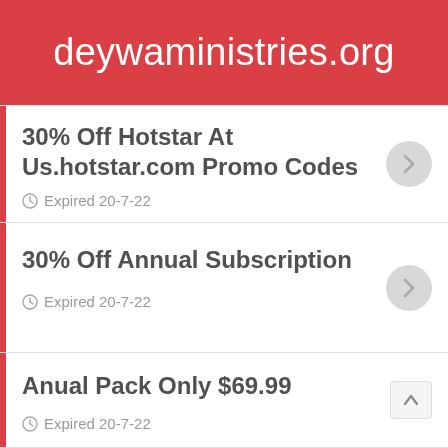deywaministries.org
30% Off Hotstar At Us.hotstar.com Promo Codes
Expired 20-7-22
30% Off Annual Subscription
Expired 20-7-22
Anual Pack Only $69.99
Expired 20-7-22